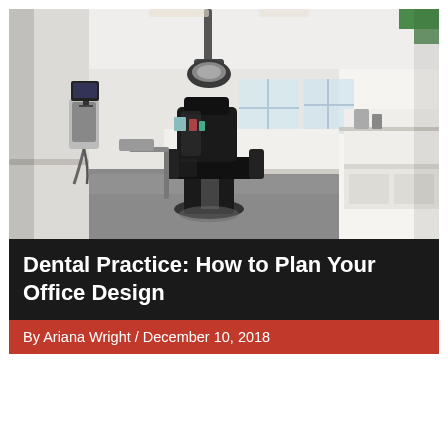[Figure (photo): Interior of a modern dental office treatment room with a black dental chair in the center, overhead dental light, white cabinetry and countertops along the walls, medical equipment, and a gray polished floor. Bright natural light from windows in the background.]
Dental Practice: How to Plan Your Office Design
By Ariana Wright / December 10, 2018